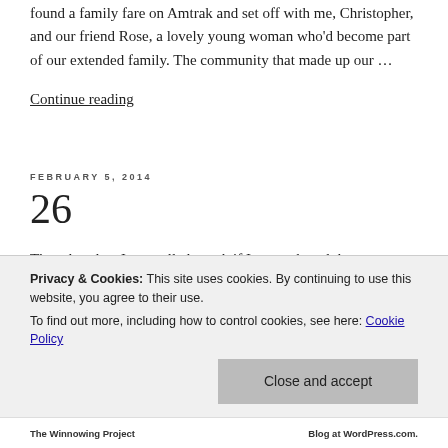found a family fare on Amtrak and set off with me, Christopher, and our friend Rose, a lovely young woman who'd become part of our extended family. The community that made up our …
Continue reading
FEBRUARY 5, 2014
26
The other day, Jesse called to ask if I remembered the summer we stayed with Chilton outside Oroville in a large
Privacy & Cookies: This site uses cookies. By continuing to use this website, you agree to their use.
To find out more, including how to control cookies, see here: Cookie Policy
Close and accept
The winnowing project	Blog at WordPress.com.